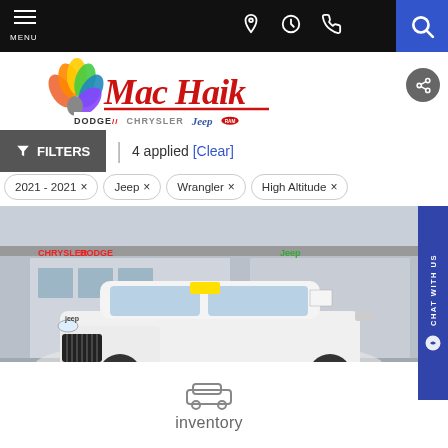MENU | navigation icons | SEARCH
[Figure (logo): Mac Haik Dodge Chrysler Jeep RAM dealer logo with peacock icon]
FILTERS | 4 applied [Clear]
2021 - 2021 ×
Jeep ×
Wrangler ×
High Altitude ×
[Figure (photo): White Jeep Grand Cherokee SUV photographed in front of a Mac Haik Chrysler Dodge Jeep Ram dealership]
inventory